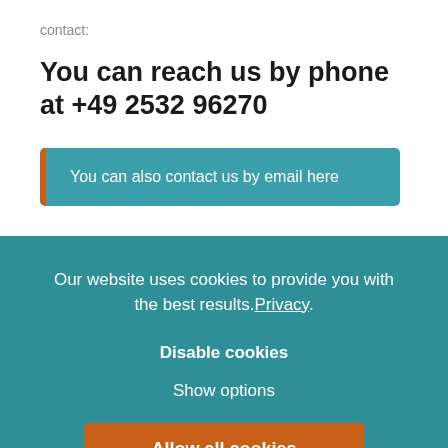contact:
You can reach us by phone at +49 2532 96270
You can also contact us by email here
Our website uses cookies to provide you with the best results. Privacy.
Disable cookies
Show options
Allow all cookies